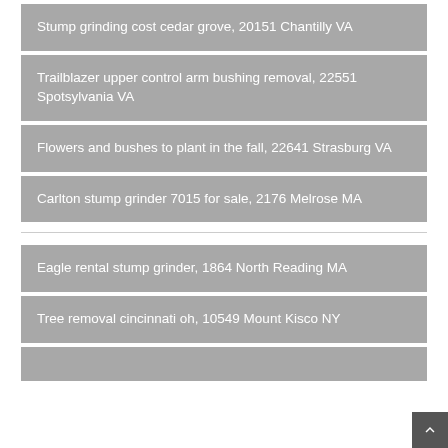Stump grinding cost cedar grove, 20151 Chantilly VA
Trailblazer upper control arm bushing removal, 22551 Spotsylvania VA
Flowers and bushes to plant in the fall, 22641 Strasburg VA
Carlton stump grinder 7015 for sale, 2176 Melrose MA
Eagle rental stump grinder, 1864 North Reading MA
Tree removal cincinnati oh, 10549 Mount Kisco NY